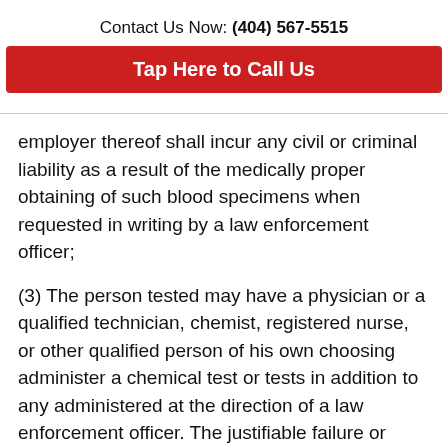Contact Us Now: (404) 567-5515
Tap Here to Call Us
employer thereof shall incur any civil or criminal liability as a result of the medically proper obtaining of such blood specimens when requested in writing by a law enforcement officer;
(3) The person tested may have a physician or a qualified technician, chemist, registered nurse, or other qualified person of his own choosing administer a chemical test or tests in addition to any administered at the direction of a law enforcement officer. The justifiable failure or inability to obtain an additional test